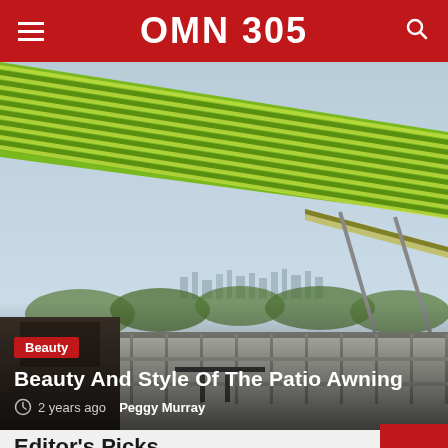OMN 305
[Figure (photo): A green and white striped retractable patio awning extended over a rooftop terrace with a city skyline view in the background]
Beauty
Beauty And Style Of The Patio Awning
2 years ago  Peggy Murray
Editor's Picks
[Figure (photo): Thumbnail showing green awning fabric against blue sky]
[Figure (photo): Thumbnail showing a woman]